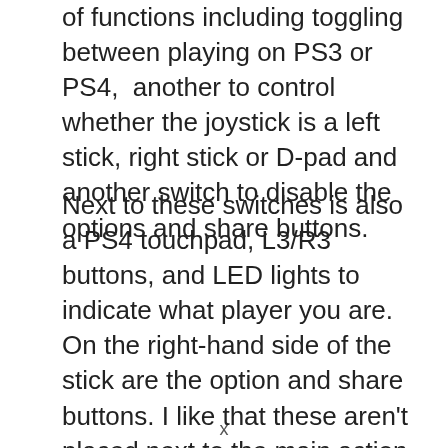of functions including toggling between playing on PS3 or PS4,  another to control whether the joystick is a left stick, right stick or D-pad and another switch to disable the options and share buttons.
Next to these switches is also a PS4 touchpad, L3/R3 buttons, and LED lights to indicate what player you are. On the right-hand side of the stick are the option and share buttons. I like that these aren't placed next to the main action buttons to prevent accidentally hitting them. You can also disable them to add further reassurance
x